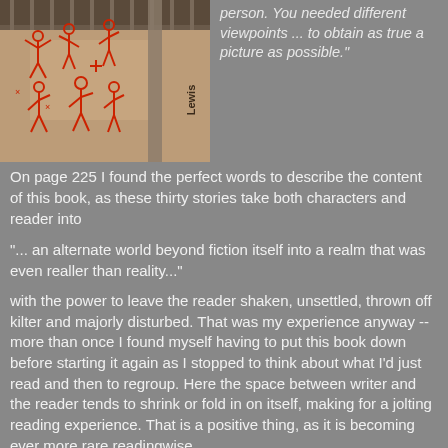[Figure (photo): Photo of a concrete surface with red stick figures drawn on it, next to a metal fence or railing with text 'Lewis' visible on it.]
person. You needed different viewpoints ... to obtain as true a picture as possible."
On page 225 I found the perfect words to describe the content of this book, as these thirty stories take both characters and reader into
"... an alternate world beyond fiction itself into a realm that was even realler than reality..."
with the power to leave the reader shaken, unsettled, thrown off kilter and majorly disturbed. That was my experience anyway -- more than once I found myself having to put this book down before starting it again as I stopped to think about what I'd just read and then to regroup.  Here the space between writer and the reader tends to shrink or fold in on itself, making for a jolting reading experience.  That is a positive thing, as it is becoming ever more rare readingwise